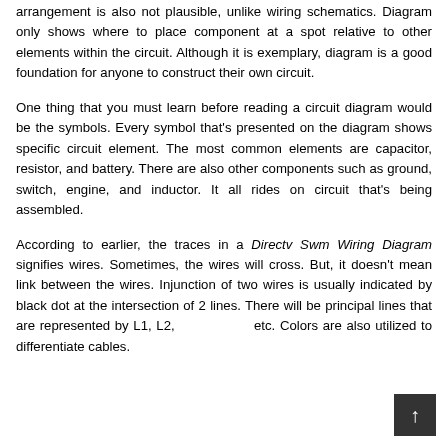arrangement is also not plausible, unlike wiring schematics. Diagram only shows where to place component at a spot relative to other elements within the circuit. Although it is exemplary, diagram is a good foundation for anyone to construct their own circuit.
One thing that you must learn before reading a circuit diagram would be the symbols. Every symbol that's presented on the diagram shows specific circuit element. The most common elements are capacitor, resistor, and battery. There are also other components such as ground, switch, engine, and inductor. It all rides on circuit that's being assembled.
According to earlier, the traces in a Directv Swm Wiring Diagram signifies wires. Sometimes, the wires will cross. But, it doesn't mean link between the wires. Injunction of two wires is usually indicated by black dot at the intersection of 2 lines. There will be principal lines that are represented by L1, L2, etc. Colors are also utilized to differentiate cables.